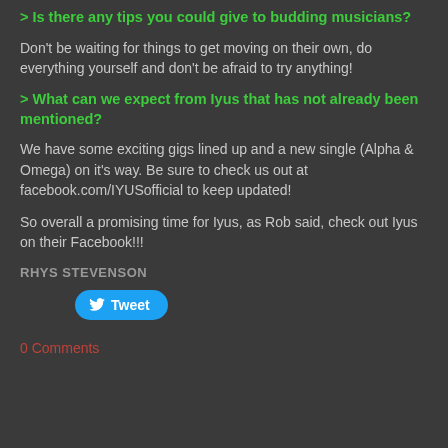> Is there any tips you could give to budding musicians?
Don't be waiting for things to get moving on their own, do everything yourself and don't be afraid to try anything!
> What can we expect from Iyus that has not already been mentioned?
We have some exciting gigs lined up and a new single (Alpha & Omega) on it's way. Be sure to check us out at facebook.com/IYUSofficial to keep updated!
So overall a promising time for Iyus, as Rob said, check out Iyus on their Facebook!!!
RHYS STEVENSON
[Figure (other): Tweet button with Twitter bird icon]
0 Comments